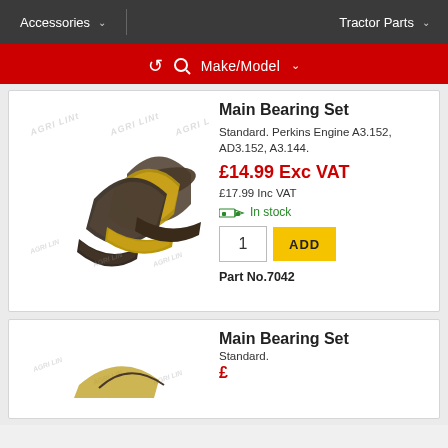Accessories  |  Tractor Parts
Make/Model
Main Bearing Set
Standard. Perkins Engine A3.152, AD3.152, A3.144.
£14.99 Exc VAT
£17.99 Inc VAT
In stock
Part No.7042
[Figure (photo): Main bearing set half-shell bearings, metallic, arranged in a row]
Main Bearing Set
Standard.
[Figure (photo): Main bearing set partial view at bottom of page]